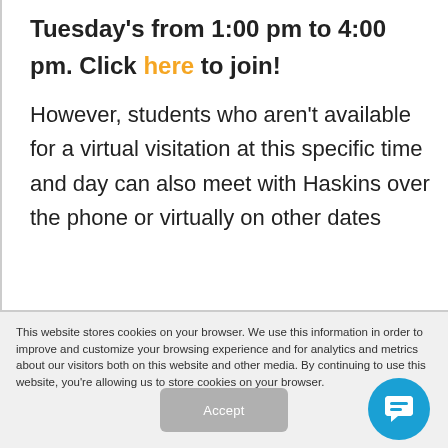Tuesday's from 1:00 pm to 4:00 pm. Click here to join!
However, students who aren't available for a virtual visitation at this specific time and day can also meet with Haskins over the phone or virtually on other dates
This website stores cookies on your browser. We use this information in order to improve and customize your browsing experience and for analytics and metrics about our visitors both on this website and other media. By continuing to use this website, you're allowing us to store cookies on your browser.